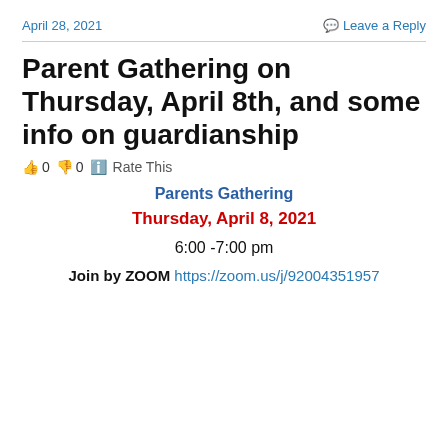April 28, 2021   Leave a Reply
Parent Gathering on Thursday, April 8th, and some info on guardianship
👍 0 👎 0 ℹ Rate This
Parents Gathering
Thursday, April 8, 2021
6:00 -7:00 pm
Join by ZOOM https://zoom.us/j/92004351957